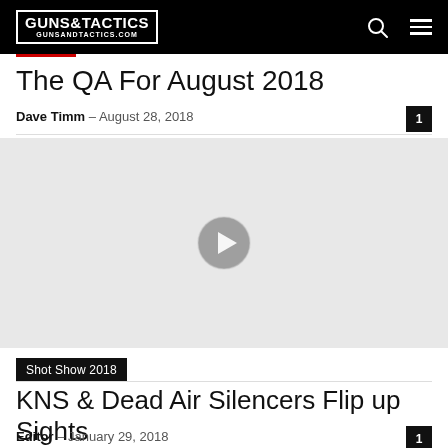GUNS&TACTICS GUNSANDTACTICS.COM
The QA For August 2018
Dave Timm – August 28, 2018
[Figure (screenshot): Video thumbnail with play button on light gray background]
Shot Show 2018
KNS & Dead Air Silencers Flip up Sights
Editor – January 29, 2018